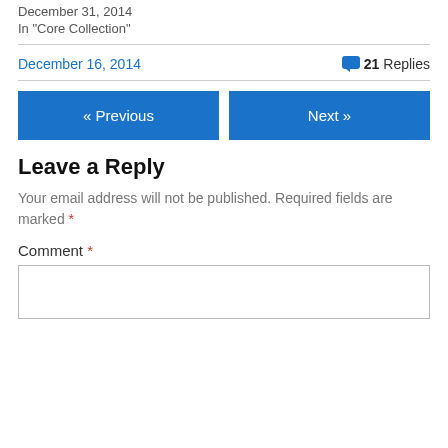December 31, 2014
In "Core Collection"
December 16, 2014
21 Replies
« Previous
Next »
Leave a Reply
Your email address will not be published. Required fields are marked *
Comment *